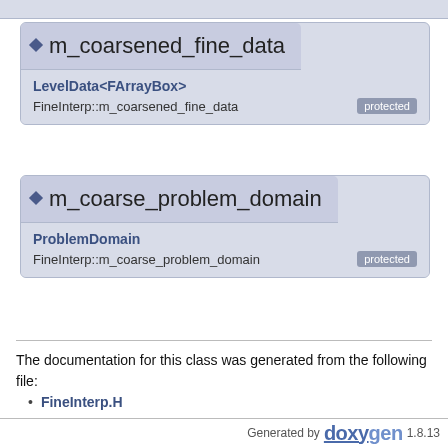[Figure (screenshot): Top partial card/bar at very top of page]
m_coarsened_fine_data
LevelData<FArrayBox>
FineInterp::m_coarsened_fine_data  protected
m_coarse_problem_domain
ProblemDomain
FineInterp::m_coarse_problem_domain  protected
The documentation for this class was generated from the following file:
FineInterp.H
Generated by doxygen 1.8.13